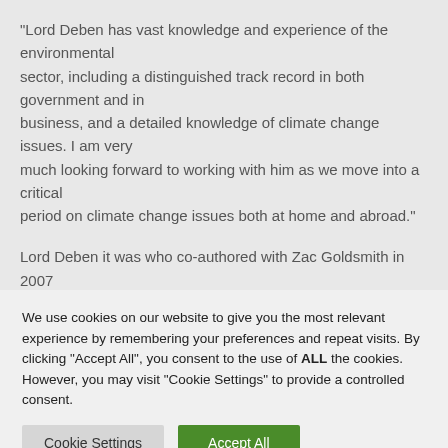"Lord Deben has vast knowledge and experience of the environmental sector, including a distinguished track record in both government and in business, and a detailed knowledge of climate change issues. I am very much looking forward to working with him as we move into a critical period on climate change issues both at home and abroad."
Lord Deben it was who co-authored with Zac Goldsmith in 2007 the
We use cookies on our website to give you the most relevant experience by remembering your preferences and repeat visits. By clicking "Accept All", you consent to the use of ALL the cookies. However, you may visit "Cookie Settings" to provide a controlled consent.